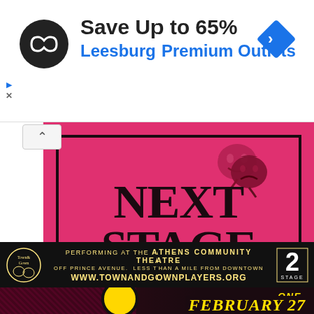Save Up to 65%
Leesburg Premium Outlets
[Figure (screenshot): Next Stage Press logo on pink/red background with theatre masks and black border]
PERFORMING AT THE ATHENS COMMUNITY THEATRE OFF PRINCE AVENUE. LESS THAN A MILE FROM DOWNTOWN WWW.TOWNANDGOWNPLAYERS.ORG
[Figure (photo): Bottom theatre advertisement strip with 'ONE WEEKEND ONLY!' and 'FEBRUARY 27' in yellow text over dark artistic image]